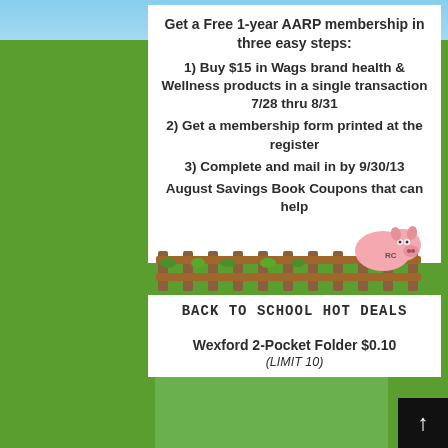Get a Free 1-year AARP membership in three easy steps:
1) Buy $15 in Wags brand health & Wellness products in a single transaction 7/28 thru 8/31
2) Get a membership form printed at the register
3) Complete and mail in by 9/30/13
August Savings Book Coupons that can help
[Figure (illustration): A cartoon pig sitting on a wooden fence with grass, used as a decorative element]
BACK TO SCHOOL HOT DEALS
Wexford 2-Pocket Folder $0.10
(LIMIT 10)